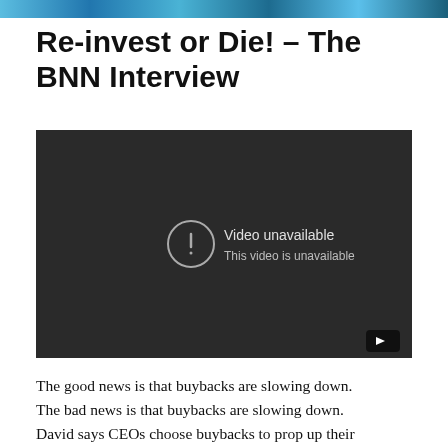Re-invest or Die! – The BNN Interview
[Figure (screenshot): Embedded video player showing 'Video unavailable – This video is unavailable' message on a dark background, with a YouTube play button icon in the bottom right corner.]
The good news is that buybacks are slowing down. The bad news is that buybacks are slowing down. David says CEOs choose buybacks to prop up their